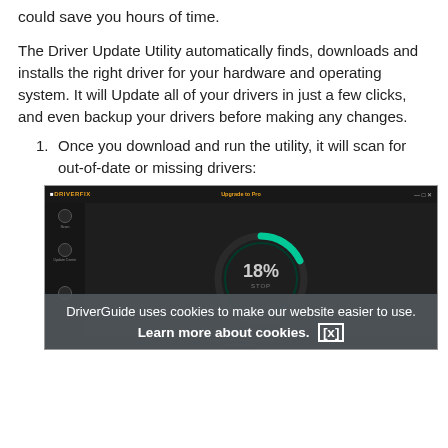could save you hours of time.
The Driver Update Utility automatically finds, downloads and installs the right driver for your hardware and operating system. It will Update all of your drivers in just a few clicks, and even backup your drivers before making any changes.
Once you download and run the utility, it will scan for out-of-date or missing drivers:
[Figure (screenshot): DriverFix application window showing a scanning progress ring at 18% with a dark UI, sidebar icons, and a STOP button. An 'Upgrade to Pro' link appears in the top right. A cookie consent banner overlays the bottom: 'DriverGuide uses cookies to make our website easier to use. Learn more about cookies. [x]']